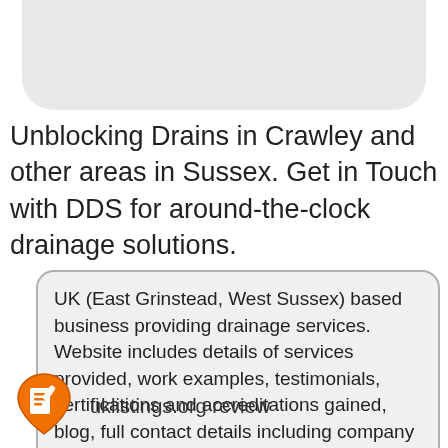[Figure (illustration): Top rounded grey card shape at the top of the page]
Unblocking Drains in Crawley and other areas in Sussex. Get in Touch with DDS for around-the-clock drainage solutions.
UK (East Grinstead, West Sussex) based business providing drainage services. Website includes details of services provided, work examples, testimonials, certifications and accreditations gained, blog, full contact details including company registration and VAT numbers.
[Figure (logo): uklistings.org orange logo with white book/document icon]
uklistings.org review